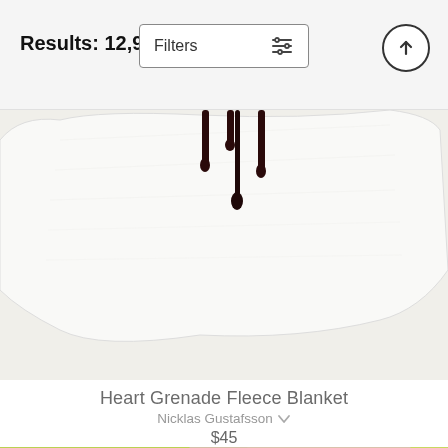Results: 12,987,921
Filters
[Figure (photo): Cropped photo of a white fleece blanket with dark dripping paint marks on it]
Heart Grenade Fleece Blanket
Nicklas Gustafsson
$45
[Figure (photo): Cropped photo of a colorful watercolor fleece blanket featuring a monarch butterfly on a vivid multicolored background]